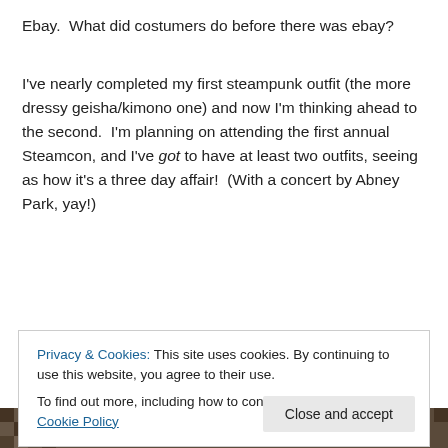Ebay.  What did costumers do before there was ebay?
I've nearly completed my first steampunk outfit (the more dressy geisha/kimono one) and now I'm thinking ahead to the second.  I'm planning on attending the first annual Steamcon, and I've got to have at least two outfits, seeing as how it's a three day affair!  (With a concert by Abney Park, yay!)
http://www.steam-con.com/
So I went onto ebay in the search of some required props...
Privacy & Cookies: This site uses cookies. By continuing to use this website, you agree to their use.
To find out more, including how to control cookies, see here: Cookie Policy
[Figure (photo): Bottom strip showing a patterned textile or mosaic image]